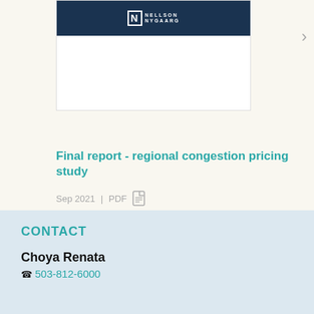[Figure (logo): Nelson Nygaard logo on dark navy blue background, document preview card]
Final report - regional congestion pricing study
Sep 2021 | PDF
CONTACT
Choya Renata
503-812-6000